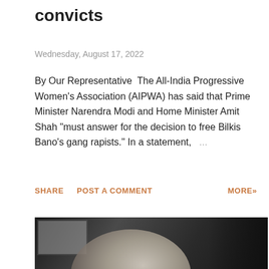convicts
Wednesday, August 17, 2022
By Our Representative  The All-India Progressive Women's Association (AIPWA) has said that Prime Minister Narendra Modi and Home Minister Amit Shah "must answer for the decision to free Bilkis Bano's gang rapists." In a statement,    ...
SHARE   POST A COMMENT   MORE»
[Figure (photo): Black and white photograph of a bearded man with glasses, leaning forward, wearing a white shirt. A framed picture is visible in the background.]